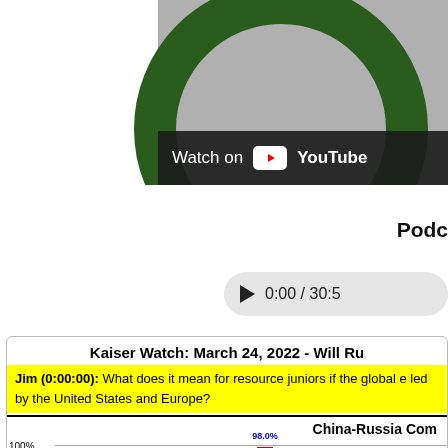[Figure (screenshot): YouTube video thumbnail showing a dark background with a green circle/ring graphic and a 'Watch on YouTube' bar overlay at the bottom]
Podc
▶ 0:00 / 30:5
Kaiser Watch: March 24, 2022 - Will Ru
Jim (0:00:00): What does it mean for resource juniors if the global e led by the United States and Europe?
[Figure (bar-chart): Partial bar chart showing China-Russia comparison data with bars at 85.0%, 82.4%, and 98.0%, y-axis visible showing 90% and 100% gridlines]